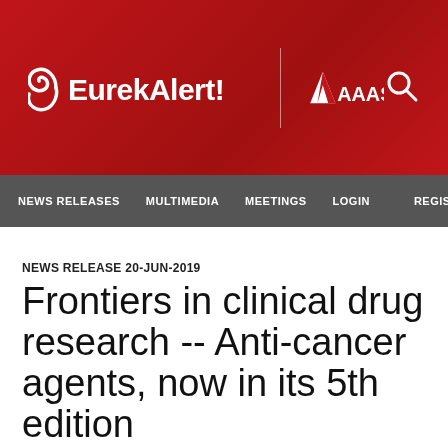[Figure (logo): EurekAlert! logo with AAAS branding on red banner background, with search icon]
NEWS RELEASES   MULTIMEDIA   MEETINGS   LOGIN   REGISTER
NEWS RELEASE 20-JUN-2019
Frontiers in clinical drug research -- Anti-cancer agents, now in its 5th edition
This eBook is authored by Dr. Ata-ur-Rahman, published on June 12, 2019
Book Announcement